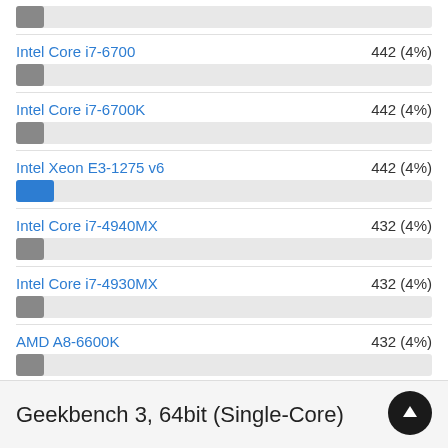[Figure (bar-chart): Geekbench 3, 64bit (Single-Core)]
Geekbench 3, 64bit (Single-Core)